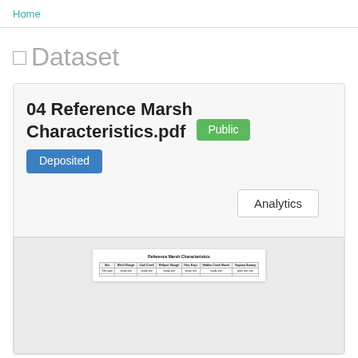Home
□ Dataset
04 Reference Marsh Characteristics.pdf Public
Deposited
Analytics
[Figure (table-as-image): Mini preview of a PDF document titled 'Reference Marsh Characteristics' showing a small table with columns: Site, Blind Slough, Coal Creek, Millport Slough, Hins Keys, Hidden Creek Marsh, Yaquina Swamp and rows with study site data]